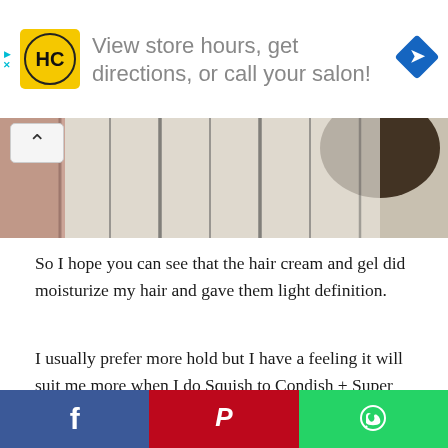[Figure (other): Advertisement banner with HC (Hair Club) logo, text 'View store hours, get directions, or call your salon!', and a blue navigation arrow icon]
[Figure (photo): Cropped image of a person wearing a striped shirt with curly dark hair visible, partial scroll-up arrow button overlay]
So I hope you can see that the hair cream and gel did moisturize my hair and gave them light definition.
I usually prefer more hold but I have a feeling it will suit me more when I do Squish to Condish + Super Soaker method, which I will try next. I
[Figure (other): Social media share buttons: Facebook (blue with f icon), Pinterest (red with P icon), WhatsApp (green with phone/chat icon)]